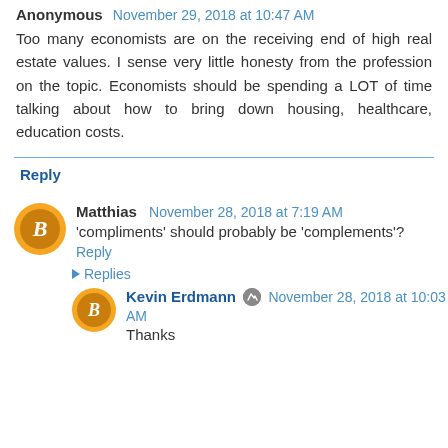Anonymous November 29, 2018 at 10:47 AM
Too many economists are on the receiving end of high real estate values. I sense very little honesty from the profession on the topic. Economists should be spending a LOT of time talking about how to bring down housing, healthcare, education costs.
Reply
Matthias November 28, 2018 at 7:19 AM
'compliments' should probably be 'complements'?
Reply
▶ Replies
Kevin Erdmann November 28, 2018 at 10:03 AM
Thanks